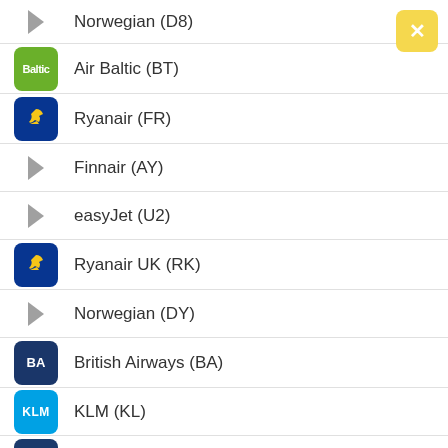Norwegian (D8)
Air Baltic (BT)
Ryanair (FR)
Finnair (AY)
easyJet (U2)
Ryanair UK (RK)
Norwegian (DY)
British Airways (BA)
KLM (KL)
Brussels Airlines (SN)